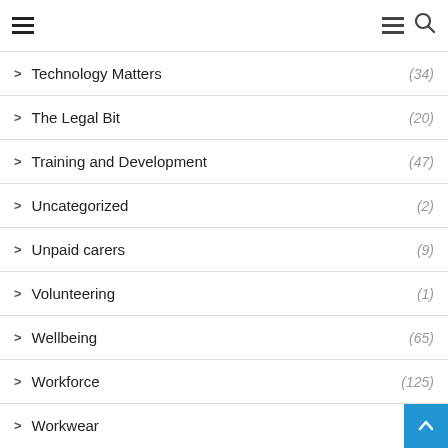Navigation menu with hamburger icons and search
Technology Matters (34)
The Legal Bit (20)
Training and Development (47)
Uncategorized (2)
Unpaid carers (9)
Volunteering (1)
Wellbeing (65)
Workforce (125)
Workwear